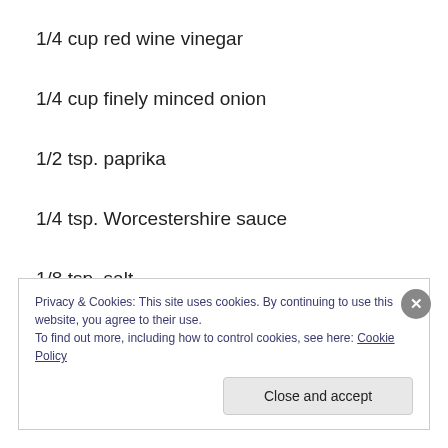1/4 cup red wine vinegar
1/4 cup finely minced onion
1/2 tsp. paprika
1/4 tsp. Worcestershire sauce
1/8 tsp. salt
1/8 tsp. pepper
3/8 cup of Canola Oil
Privacy & Cookies: This site uses cookies. By continuing to use this website, you agree to their use.
To find out more, including how to control cookies, see here: Cookie Policy